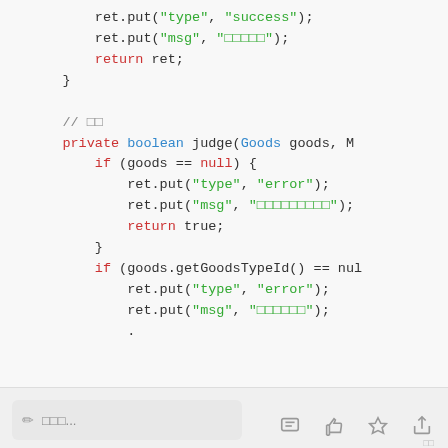[Figure (screenshot): Code editor screenshot showing Java code with syntax highlighting. Contains ret.put calls, return statements, a comment '// 判断', and a private boolean judge method with null checks and goods type validation.]
✏ 评论...